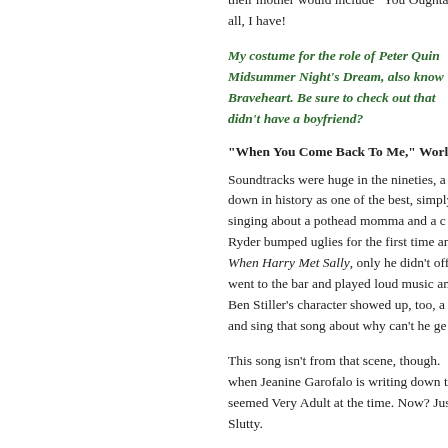their mother would include "You Oughta all, I have!
My costume for the role of Peter Quin Midsummer Night's Dream, also know Braveheart. Be sure to check out that didn't have a boyfriend?
“When You Come Back To Me,” World
Soundtracks were huge in the nineties, a down in history as one of the best, simply singing about a pothead momma and a c Ryder bumped uglies for the first time an When Harry Met Sally, only he didn't offe went to the bar and played loud music an Ben Stiller's character showed up, too, a and sing that song about why can't he ge
This song isn't from that scene, though. when Jeanine Garofalo is writing down th seemed Very Adult at the time. Now? Jus Slutty.
“Alone,” Lisa Loeb & Nine Stories